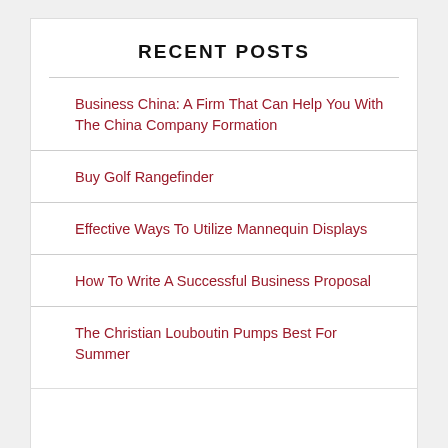RECENT POSTS
Business China: A Firm That Can Help You With The China Company Formation
Buy Golf Rangefinder
Effective Ways To Utilize Mannequin Displays
How To Write A Successful Business Proposal
The Christian Louboutin Pumps Best For Summer